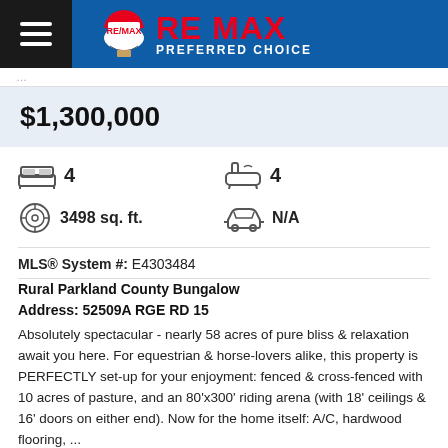RE MAX PREFERRED CHOICE
$1,300,000
4 bedrooms  4 bathrooms  3498 sq. ft.  N/A garage
MLS® System #: E4303484
Rural Parkland County Bungalow
Address:  52509A RGE RD 15
Absolutely spectacular - nearly 58 acres of pure bliss & relaxation await you here. For equestrian & horse-lovers alike, this property is PERFECTLY set-up for your enjoyment: fenced & cross-fenced with 10 acres of pasture, and an 80'x300' riding arena (with 18' ceilings & 16' doors on either end). Now for the home itself: A/C, hardwood flooring, ...
Take a Photo Tour